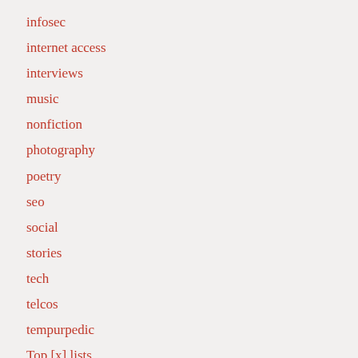infosec
internet access
interviews
music
nonfiction
photography
poetry
seo
social
stories
tech
telcos
tempurpedic
Top [x] lists